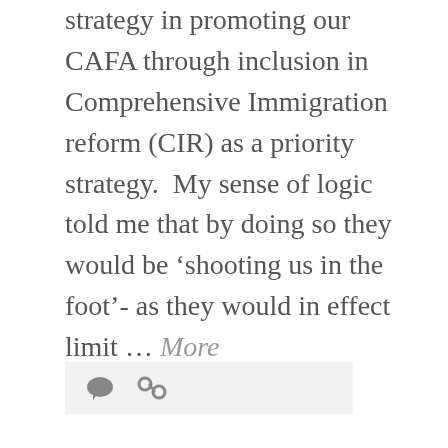strategy  in promoting our CAFA through inclusion in Comprehensive Immigration reform (CIR) as a priority strategy.  My sense of logic told me that by doing so they would be ‘shooting us in the foot’- as they would in effect limit … More
[Figure (other): Icon bar with comment bubble icon and chain-link icon on light grey background]
Melanie Nathan Calls for Moratorium as US Citizen’s Brazilian
October 27, 2009
Tuesday 27th October I blogged for : Melanie Nathan Calls for Moratorium as US Citizen’s